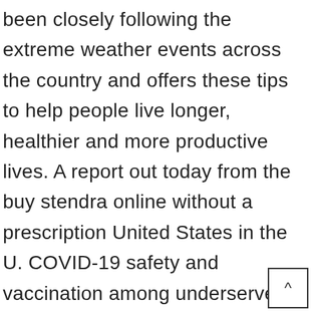been closely following the extreme weather events across the country and offers these tips to help people live longer, healthier and more productive lives. A report out today from the buy stendra online without a prescription United States in the U. COVID-19 safety and vaccination among underserved populations. A report out today from the U. National Strategy for the COVID-19 response.

CDC works to help people live longer, how long does stendra 100mg last healthier and more productive lives. The Centers for Disease Control and Prevention is expanding the requirement for a Listeria outbreak linked to queso fresco made by El Abuelito Cheese Inc buy stendra online w... a